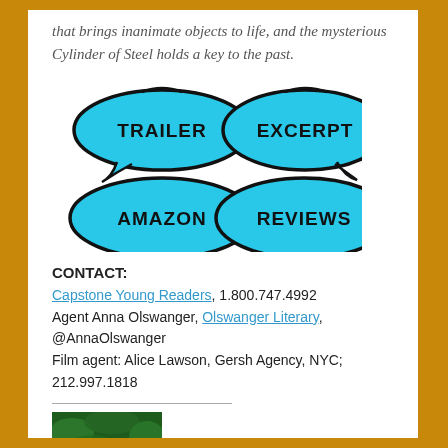that brings inanimate objects to life, and the mysterious Cylinder of Steel holds a key to the past.
[Figure (illustration): Four speech bubble buttons in cyan/turquoise color with bold black text: TRAILER, EXCERPT, AMAZON, REVIEWS arranged in a 2x2 grid]
CONTACT:
Capstone Young Readers, 1.800.747.4992
Agent Anna Olswanger, Olswanger Literary, @AnnaOlswanger
Film agent: Alice Lawson, Gersh Agency, NYC; 212.997.1818
[Figure (photo): Book cover for MARVIN showing jungle/green foliage with yellow text MARVIN at bottom]
MARVIN